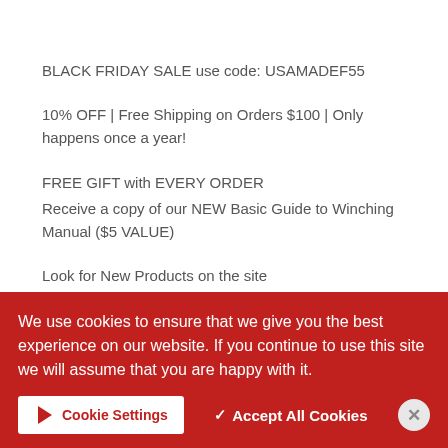BLACK FRIDAY SALE use code: USAMADEF55
10% OFF | Free Shipping on Orders $100 | Only happens once a year!
FREE GIFT with EVERY ORDER
Receive a copy of our NEW Basic Guide to Winching Manual ($5 VALUE)
Look for New Products on the site
HAPPY THANKSGIVING!
We use cookies to ensure that we give you the best experience on our website. If you continue to use this site we will assume that you are happy with it.
Cookie Settings
✓ Accept All Cookies